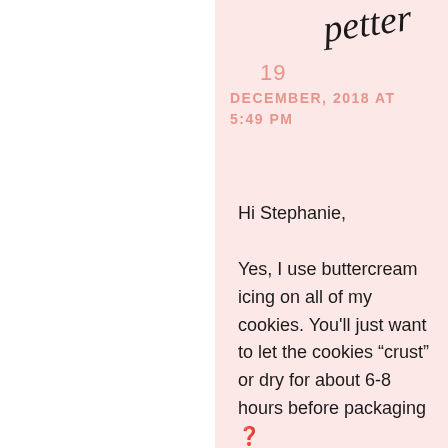[Figure (illustration): Handwritten cursive text 'petter' or similar signature]
19
DECEMBER, 2018 AT 5:49 PM
Hi Stephanie,

Yes, I use buttercream icing on all of my cookies. You'll just want to let the cookies “crust” or dry for about 6-8 hours before packaging ❓